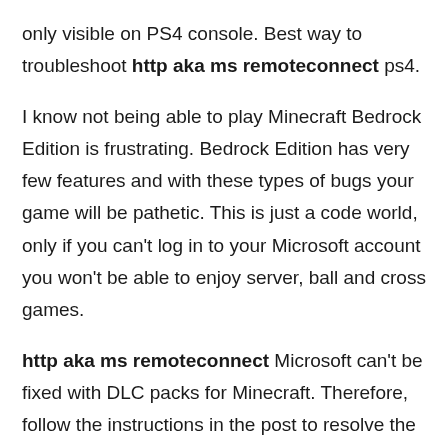only visible on PS4 console. Best way to troubleshoot http aka ms remoteconnect ps4.
I know not being able to play Minecraft Bedrock Edition is frustrating. Bedrock Edition has very few features and with these types of bugs your game will be pathetic. This is just a code world, only if you can't log in to your Microsoft account you won't be able to enjoy server, ball and cross games.
http aka ms remoteconnect Microsoft can't be fixed with DLC packs for Minecraft. Therefore, follow the instructions in the post to resolve the issue carefully.